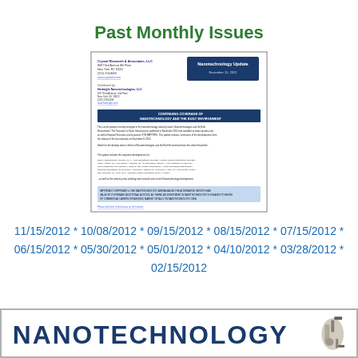Past Monthly Issues
[Figure (screenshot): Thumbnail of a Nanotechnology Update newsletter dated November 15, 2012, showing the newsletter header with address info, a dark blue 'Nanotechnology Update' banner on the right, a section titled 'CONTINUING COVERAGE OF NANOTECHNOLOGY AND THE BUILT ENVIRONMENT', body text paragraphs, a light blue highlighted section, and a footer link.]
11/15/2012 * 10/08/2012 * 09/15/2012 * 08/15/2012 * 07/15/2012 * 06/15/2012 * 05/30/2012 * 05/01/2012 * 04/10/2012 * 03/28/2012 * 02/15/2012
[Figure (logo): Bottom banner showing 'NANOTECHNOLOGY' text in large dark blue bold letters with a small robotic arm or machinery image on the right side, bordered by a gray rectangle.]